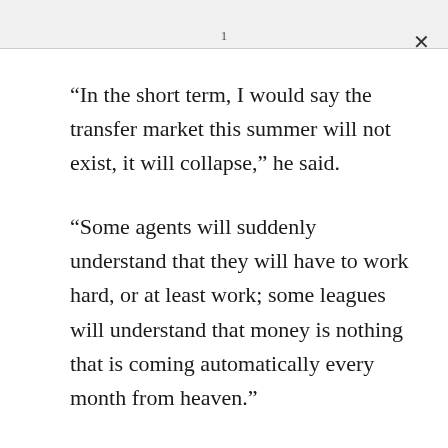1
“In the short term, I would say the transfer market this summer will not exist, it will collapse,” he said.
“Some agents will suddenly understand that they will have to work hard, or at least work; some leagues will understand that money is nothing that is coming automatically every month from heaven.”